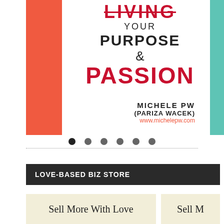[Figure (illustration): Book cover showing 'LIVING YOUR PURPOSE & PASSION' by Michele PW (Pariza Wacek), with coral/red left sidebar, teal right sidebar, and author URL www.michelepw.com. Below the cover are six navigation dots with a dotted line.]
LOVE-BASED BIZ STORE
Sell More With Love
Sell M